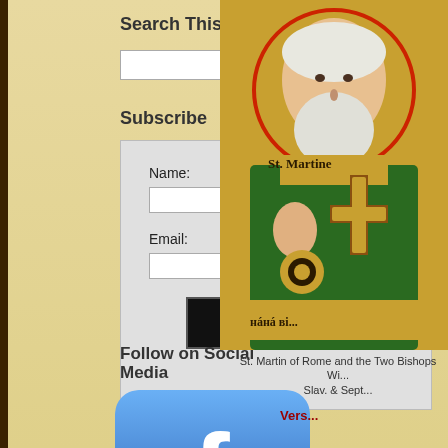Search This Site
Search [input field]
Subscribe
Name: [input] Email: [input] Sign Up
Follow on Social Media
[Figure (illustration): Facebook logo button - blue rounded square with white 'f' letter]
[Figure (illustration): Twitter logo button - blue rounded square with white bird logo]
[Figure (illustration): Orthodox icon painting of St. Martin of Rome, a bishop with white beard holding a cross, wearing green and gold vestments]
St. Martin of Rome and the Two Bishops Wi... Slav. & Sept...
Vers...